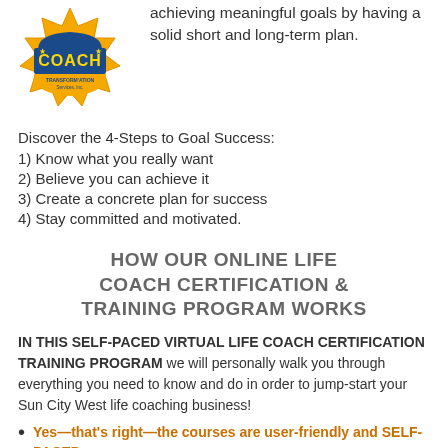[Figure (logo): Gold badge/seal logo with COACH text and Transformation Services Inc. branding]
achieving meaningful goals by having a solid short and long-term plan.
Discover the 4-Steps to Goal Success:
1) Know what you really want
2) Believe you can achieve it
3) Create a concrete plan for success
4) Stay committed and motivated.
HOW OUR ONLINE LIFE COACH CERTIFICATION & TRAINING PROGRAM WORKS
IN THIS SELF-PACED VIRTUAL LIFE COACH CERTIFICATION TRAINING PROGRAM we will personally walk you through everything you need to know and do in order to jump-start your Sun City West life coaching business!
Yes—that's right—the courses are user-friendly and SELF-PACED,
meaning you can complete them as fast or as